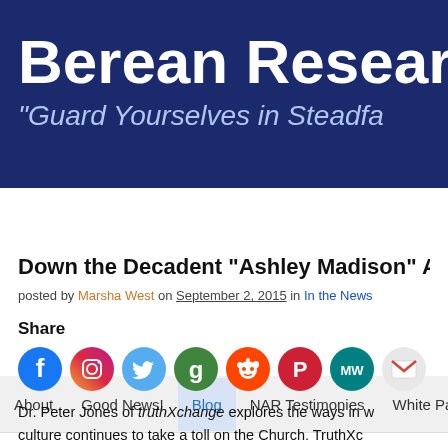Berean Research – "Guard Yourselves in Steadfastness"
Down the Decadent “Ashley Madison” Aven…
posted by Marsha West on September 2, 2015 in In the News
Share
[Figure (infographic): Row of social media share icons: Facebook (blue circle with f), Instagram (gradient circle with camera), Twitter (light blue circle with bird), Goodreads (green circle with g), Reddit (orange circle with alien), Parler (red circle with P logo), MeWe (teal circle with MW), Gmail (red envelope icon)]
Dr. Peter Jones of truthXchange explores the ways in which culture continues to take a toll on the Church. TruthXchange is a ministry that seeks to understand the culture, as Paul did in his day, so we can know how share the gospel of Jesus Christ with our neighbors. Because of the research he does, Dr. Jones has been…